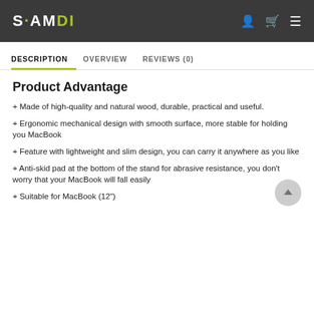samdi
DESCRIPTION   OVERVIEW   REVIEWS (0)
Product Advantage
+ Made of high-quality and natural wood, durable, practical and useful.
+ Ergonomic mechanical design with smooth surface, more stable for holding you MacBook
+ Feature with lightweight and slim design, you can carry it anywhere as you like
+ Anti-skid pad at the bottom of the stand for abrasive resistance, you don't worry that your MacBook will fall easily
+ Suitable for MacBook (12")